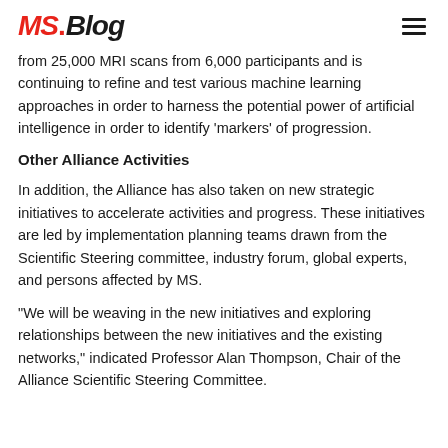MS.Blog
from 25,000 MRI scans from 6,000 participants and is continuing to refine and test various machine learning approaches in order to harness the potential power of artificial intelligence in order to identify ‘markers’ of progression.
Other Alliance Activities
In addition, the Alliance has also taken on new strategic initiatives to accelerate activities and progress. These initiatives are led by implementation planning teams drawn from the Scientific Steering committee, industry forum, global experts, and persons affected by MS.
“We will be weaving in the new initiatives and exploring relationships between the new initiatives and the existing networks,” indicated Professor Alan Thompson, Chair of the Alliance Scientific Steering Committee.